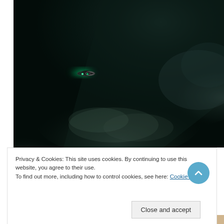[Figure (photo): Dark sci-fi game screenshot showing a dark cloudy space environment with a small glowing green UFO/spaceship with circular rings in the center-left area. Background is very dark teal/black with misty cloud-like formations.]
Privacy & Cookies: This site uses cookies. By continuing to use this website, you agree to their use.
To find out more, including how to control cookies, see here: Cookie Policy
Close and accept